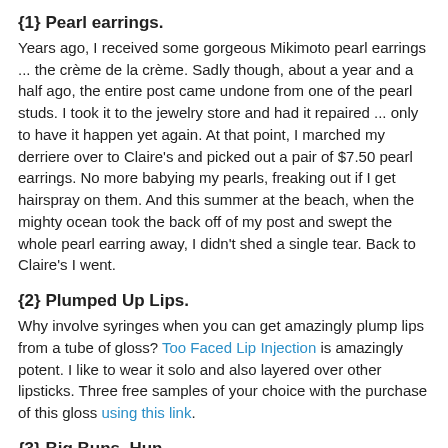{1} Pearl earrings.
Years ago, I received some gorgeous Mikimoto pearl earrings ... the crème de la crème.  Sadly though, about a year and a half ago, the entire post came undone from one of the pearl studs.  I took it to the jewelry store and had it repaired ... only to have it happen yet again.  At that point, I marched my derriere over to Claire's and picked out a pair of $7.50 pearl earrings.  No more babying my pearls, freaking out if I get hairspray on them.  And this summer at the beach, when the mighty ocean took the back off of my post and swept the whole pearl earring away, I didn't shed a single tear.  Back to Claire's I went.
{2} Plumped Up Lips.
Why involve syringes when you can get amazingly plump lips from a tube of gloss?  Too Faced Lip Injection is amazingly potent.  I like to wear it solo and also layered over other lipsticks.  Three free samples of your choice with the purchase of this gloss using this link.
{3} Big Buns, Hun.